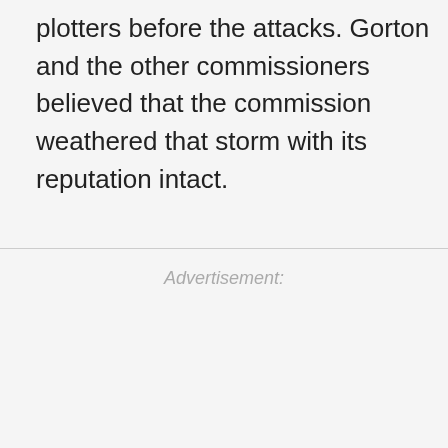plotters before the attacks. Gorton and the other commissioners believed that the commission weathered that storm with its reputation intact.
Advertisement: